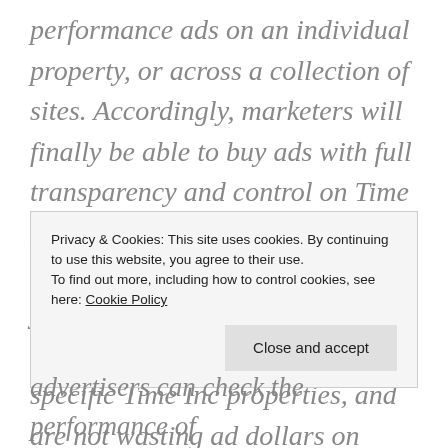performance ads on an individual property, or across a collection of sites. Accordingly, marketers will finally be able to buy ads with full transparency and control on Time Inc properties. As a marketer, this gives you full confidence that you're reaching the high-quality, highly-targeted audience of specific Time Inc properties, and are not wasting ad dollars on questionable sites that are a big part of a blind
Privacy & Cookies: This site uses cookies. By continuing to use this website, you agree to their use.
To find out more, including how to control cookies, see here: Cookie Policy
advertisers can check the performance of